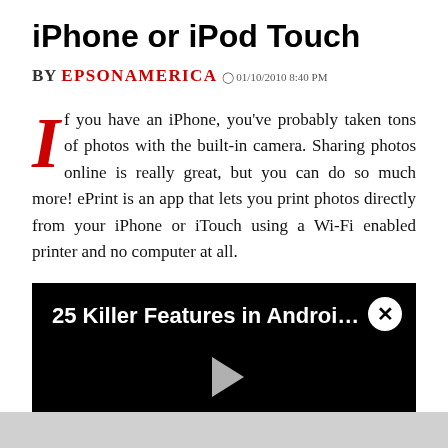iPhone or iPod Touch
BY EPSONAMERICA  01/10/2010 8:40 PM
If you have an iPhone, you've probably taken tons of photos with the built-in camera. Sharing photos online is really great, but you can do so much more! ePrint is an app that lets you print photos directly from your iPhone or iTouch using a Wi-Fi enabled printer and no computer at all.
[Figure (screenshot): Video thumbnail with black background showing '25 Killer Features in Android 10 -...' title text, a close (X) button in top-right corner, and a gray play button triangle in the center.]